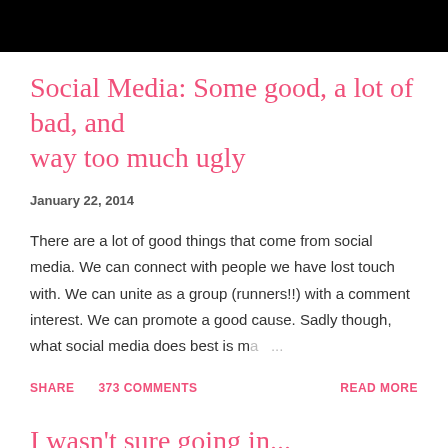[Figure (other): Black header bar image at top of page]
Social Media: Some good, a lot of bad, and way too much ugly
January 22, 2014
There are a lot of good things that come from social media. We can connect with people we have lost touch with. We can unite as a group (runners!!) with a comment interest. We can promote a good cause. Sadly though, what social media does best is ma …
SHARE    373 COMMENTS    READ MORE
I wasn't sure going in...